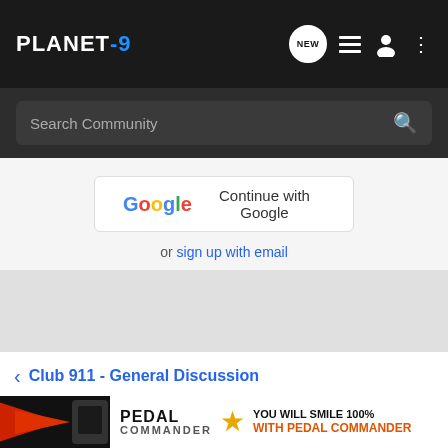PLANET-9
Search Community
Continue with Google
or sign up with email
Club 911 - General Discussion
Home | About Us | Terms of Use | Privacy Policy | Help | Business Directory | Contact Us | Grow Your Business NEW | VerticalScope Inc. 111 Peter Street, Suite 600, Toronto Ontario
[Figure (photo): Pedal Commander advertisement banner]